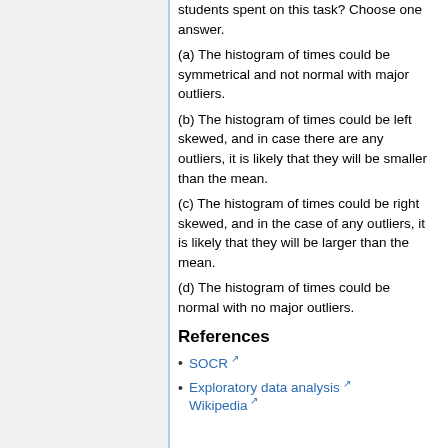students spent on this task? Choose one answer.
(a) The histogram of times could be symmetrical and not normal with major outliers.
(b) The histogram of times could be left skewed, and in case there are any outliers, it is likely that they will be smaller than the mean.
(c) The histogram of times could be right skewed, and in the case of any outliers, it is likely that they will be larger than the mean.
(d) The histogram of times could be normal with no major outliers.
References
SOCR
Exploratory data analysis Wikipedia